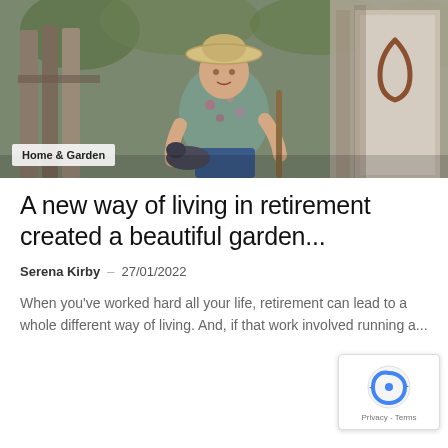[Figure (photo): Woman in a straw hat sitting outdoors in a garden near wooden fence, holding a garden tool, with a small dog. A horseshoe hangs on the fence in the background.]
Home & Garden
A new way of living in retirement created a beautiful garden...
Serena Kirby  –  27/01/2022
When you've worked hard all your life, retirement can lead to a whole different way of living. And, if that work involved running a...